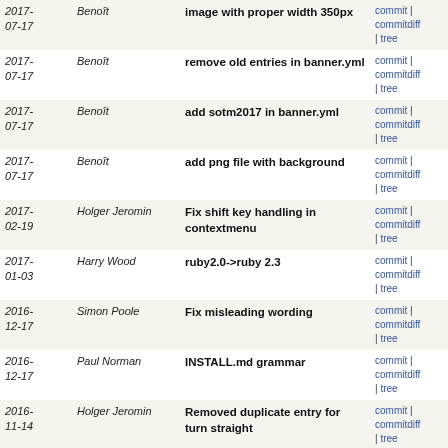| Date | Author | Commit message | Links |
| --- | --- | --- | --- |
| 2017-07-17 | Benoît | image with proper width 350px | commit | commitdiff | tree |
| 2017-07-17 | Benoît | remove old entries in banner.yml | commit | commitdiff | tree |
| 2017-07-17 | Benoît | add sotm2017 in banner.yml | commit | commitdiff | tree |
| 2017-07-17 | Benoît | add png file with background | commit | commitdiff | tree |
| 2017-02-19 | Holger Jeromin | Fix shift key handling in contextmenu | commit | commitdiff | tree |
| 2017-01-03 | Harry Wood | ruby2.0->ruby 2.3 | commit | commitdiff | tree |
| 2016-12-17 | Simon Poole | Fix misleading wording | commit | commitdiff | tree |
| 2016-12-17 | Paul Norman | INSTALL.md grammar | commit | commitdiff | tree |
| 2016-11-14 | Holger Jeromin | Removed duplicate entry for turn straight | commit | commitdiff | tree |
| 2016-11-11 | Holger Jeromin | Fixed typo trun vs turn | commit | commitdiff | tree |
| 2016-10-12 | Mikel Maron | Update structure.sql | commit | commitdiff | tree |
| 2016-10-12 | Mikel Maron | adding back trailing newlines | commit | commitdiff | tree |
| 2016-10-12 | Mikel Maron | adding back trailing newlines | commit | commitdiff | tree |